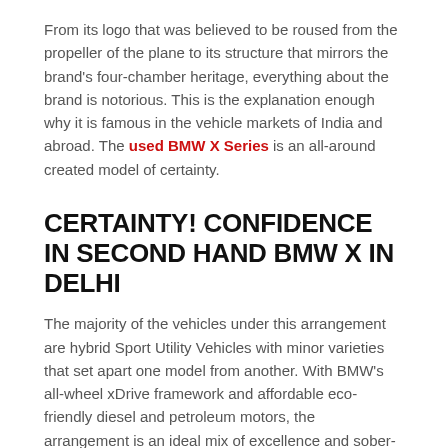From its logo that was believed to be roused from the propeller of the plane to its structure that mirrors the brand's four-chamber heritage, everything about the brand is notorious. This is the explanation enough why it is famous in the vehicle markets of India and abroad. The used BMW X Series is an all-around created model of certainty.
CERTAINTY! CONFIDENCE IN SECOND HAND BMW X IN DELHI
The majority of the vehicles under this arrangement are hybrid Sport Utility Vehicles with minor varieties that set apart one model from another. With BMW's all-wheel xDrive framework and affordable eco-friendly diesel and petroleum motors, the arrangement is an ideal mix of excellence and sober-mindedness. Under this